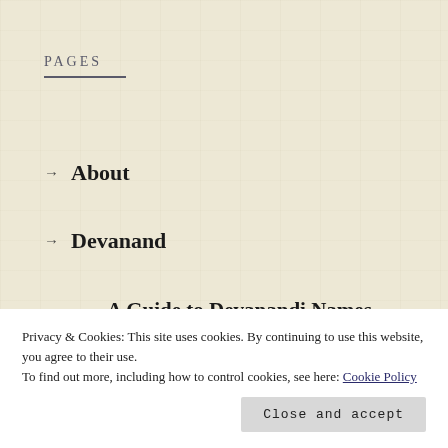PAGES
→ About
→ Devanand
→ A Guide to Devanandi Names
→ Bhaskara
→ Ab…
Privacy & Cookies: This site uses cookies. By continuing to use this website, you agree to their use.
To find out more, including how to control cookies, see here: Cookie Policy